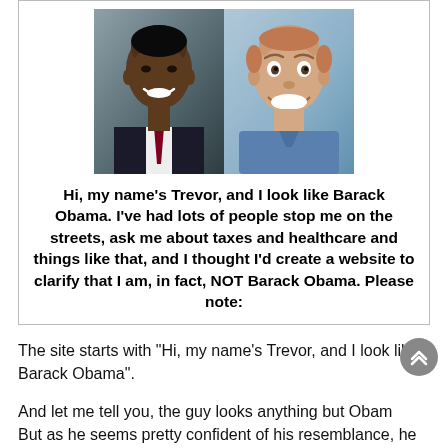[Figure (photo): Two side-by-side photos: Barack Obama on the left (professional portrait, smiling, dark suit) and Trevor on the right (casual, smiling broadly, blue shirt)]
Hi, my name's Trevor, and I look like Barack Obama. I've had lots of people stop me on the streets, ask me about taxes and healthcare and things like that, and I thought I'd create a website to clarify that I am, in fact, NOT Barack Obama. Please note:
The site starts with “Hi, my name’s Trevor, and I look like Barack Obama”.
And let me tell you, the guy looks anything but Obama. But as he seems pretty confident of his resemblance, he has a “differences and resemblance’ section, a “fanmail”